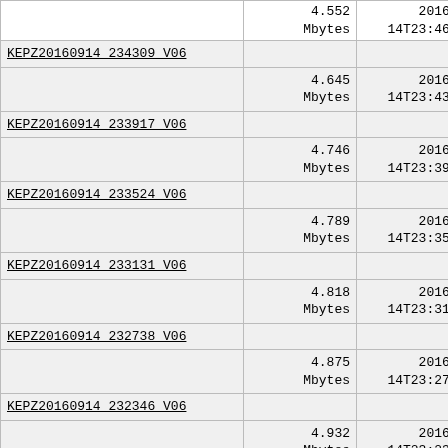| Name | Size | Date |
| --- | --- | --- |
| KEPZ20160914 234309 V06 | 4.552 Mbytes | 2016-09-14T23:46:56Z |
| KEPZ20160914 233917 V06 | 4.645 Mbytes | 2016-09-14T23:43:03Z |
| KEPZ20160914 233524 V06 | 4.746 Mbytes | 2016-09-14T23:39:11Z |
| KEPZ20160914 233131 V06 | 4.789 Mbytes | 2016-09-14T23:35:18Z |
| KEPZ20160914 232738 V06 | 4.818 Mbytes | 2016-09-14T23:31:25Z |
| KEPZ20160914 232346 V06 | 4.875 Mbytes | 2016-09-14T23:27:33Z |
| KEPZ20160914 231952 V06 | 4.932 Mbytes | 2016-09-14T23:23:39Z |
| KEPZ20160914 231559 V06 | 4.987 Mbytes | 2016-09-14T23:19:46Z |
| KEPZ20160914 231206 V06 | 5.041 Mbytes | 2016-09-14T23:15:53Z |
| KEPZ20160914 230813 V06 | 5.109 Mbytes | 2016-09-14T23:11:59Z |
| KEPZ20160914 230420 V06 | 5.145 Mbytes | 2016-09-14T23:08:07Z |
| KEPZ20160914 230028 V06 | 5.179 Mbytes | 2016-09-14T23:04:16Z |